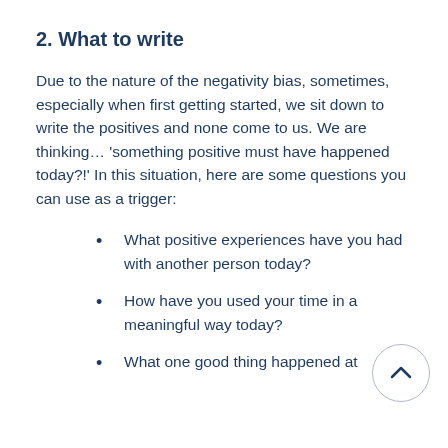2. What to write
Due to the nature of the negativity bias, sometimes, especially when first getting started, we sit down to write the positives and none come to us. We are thinking… 'something positive must have happened today?!' In this situation, here are some questions you can use as a trigger:
What positive experiences have you had with another person today?
How have you used your time in a meaningful way today?
What one good thing happened at